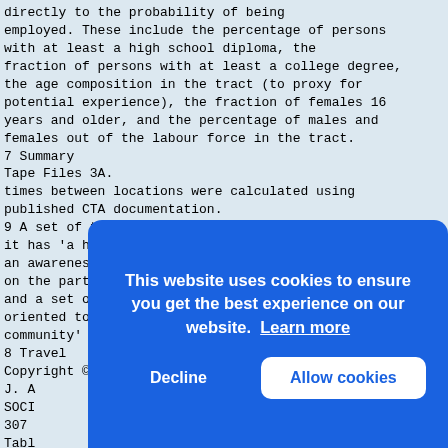directly to the probability of being employed. These include the percentage of persons with at least a high school diploma, the fraction of persons with at least a college degree, the age composition in the tract (to proxy for potential experience), the fraction of females 16 years and older, and the percentage of males and females out of the labour force in the tract.
7 Summary
Tape Files 3A.
times between locations were calculated using published CTA documentation.
9 A set of tracts is defined as a Community Area if it has 'a history of its own as a community, a name, an awareness
on the part of its inhabitants of common interests, and a set of local businesses and organizations oriented to the local
community' (Erbe et al., 1984, p. xix).
8 Travel
Copyright © 2002 John Wiley & Sons, Ltd.
J. A
SOCI
307
Table
regr
Sort
Raci
Perc
Perc
Segm
Average housing values
Median gross rents
This website uses cookies to ensure you get the best experience on our website. Learn more
Decline  Allow cookies